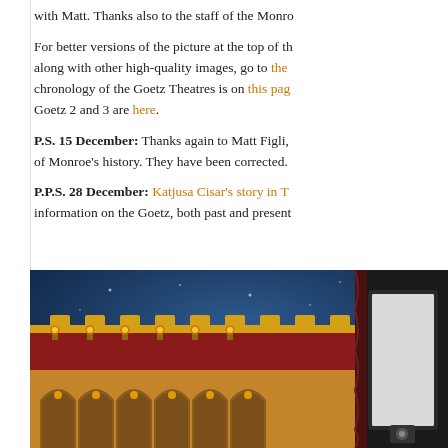with Matt. Thanks also to the staff of the Monroe
For better versions of the picture at the top of the page, along with other high-quality images, go to the [link]. chronology of the Goetz Theatres is on this page. Goetz 2 and 3 are here.
P.S. 15 December: Thanks again to Matt Figli, of Monroe's history. They have been corrected.
P.P.S. 28 December: Katjusa Cisar's story in T... information on the Goetz, both past and present
[Figure (photo): Interior of the Goetz Theatre showing ornate red and yellow arched walls with decorative lighting, dark blue ceiling, and a partial view of the projection screen on the right side.]